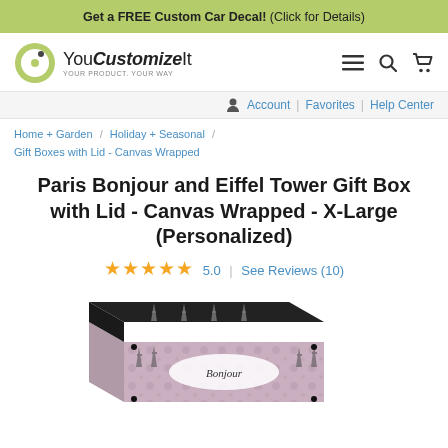Get a FREE Custom Car Decal! (Click for Details)
[Figure (logo): YouCustomizeIt logo with circular icon and tagline YOUR PRODUCT. YOUR WAY, plus navigation icons (menu, search, cart)]
Account | Favorites | Help Center
Home + Garden / Holiday + Seasonal / Gift Boxes with Lid - Canvas Wrapped
Paris Bonjour and Eiffel Tower Gift Box with Lid - Canvas Wrapped - X-Large (Personalized)
★★★★★ 5.0 | See Reviews (10)
[Figure (photo): Paris Bonjour and Eiffel Tower gift box with lid, canvas wrapped, shown at an angle. The box has a black lid decorated with Eiffel Tower silhouettes in white/gray, and a pinkish-purple floral patterned base with a white label area.]